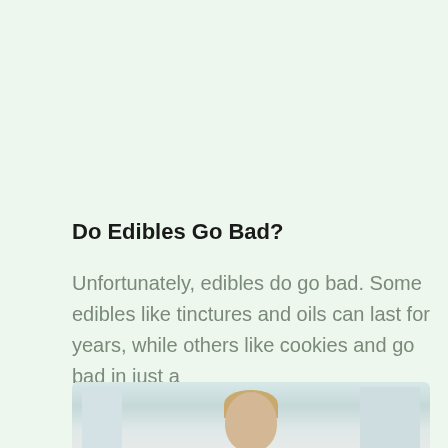Do Edibles Go Bad?
Unfortunately, edibles do go bad. Some edibles like tinctures and oils can last for years, while others like cookies and go bad in just a
[Figure (photo): A man with short blonde hair looking downward, photographed from the shoulders up against a light background with a window visible. The image is partially cropped at the bottom of the page.]